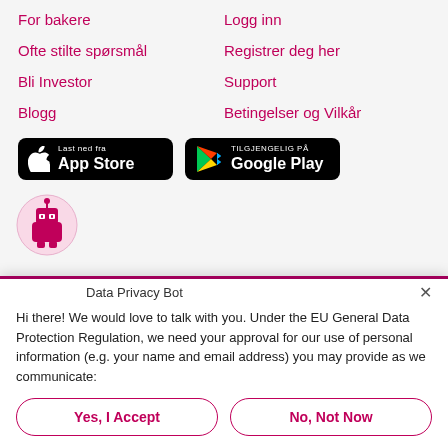For bakere
Logg inn
Ofte stilte spørsmål
Registrer deg her
Bli Investor
Support
Blogg
Betingelser og Vilkår
[Figure (screenshot): App Store download badge (black rounded rectangle) with Apple logo and text 'Last ned fra App Store']
[Figure (screenshot): Google Play download badge (black rounded rectangle) with Google Play logo and text 'TILGJENGELIG PÅ Google Play']
[Figure (illustration): Data Privacy Bot robot avatar in a pink circle]
Data Privacy Bot
Hi there! We would love to talk with you. Under the EU General Data Protection Regulation, we need your approval for our use of personal information (e.g. your name and email address) you may provide as we communicate:
Yes, I Accept
No, Not Now